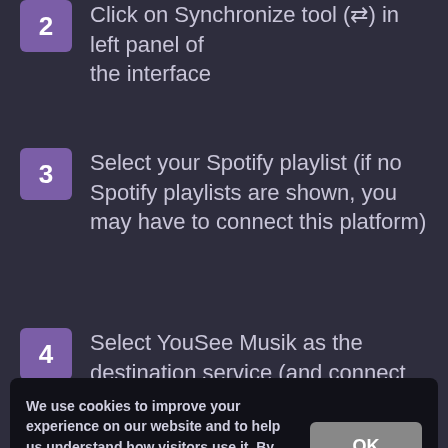2  Click on Synchronize tool (⇄) in left panel of the interface
3  Select your Spotify playlist (if no Spotify playlists are shown, you may have to connect this platform)
4  Select YouSee Musik as the destination service (and connect this platform)
We use cookies to improve your experience on our website and to help us understand how visitors use it. By using this site, you agree to this use. See details
create a new playlist directly by selecting 'New